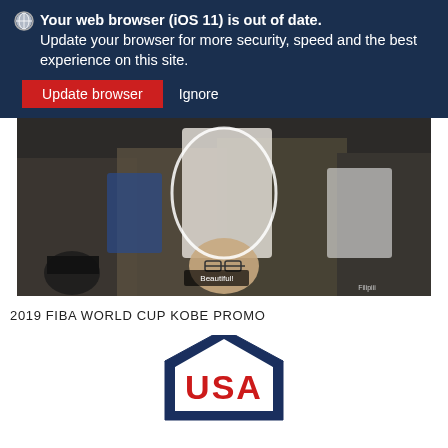Your web browser (iOS 11) is out of date. Update your browser for more security, speed and the best experience on this site.
Update browser   Ignore
[Figure (screenshot): Video thumbnail showing crowd of spectators at a basketball arena, a woman in white circled, a bald man with glasses below, text overlay 'Beautiful!' at bottom center]
2019 FIBA WORLD CUP KOBE PROMO
[Figure (logo): USA Basketball logo — navy blue pentagon/house shape with red USA letters inside]